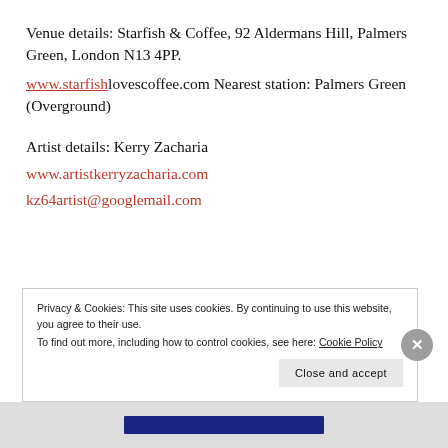Venue details: Starfish & Coffee, 92 Aldermans Hill, Palmers Green, London N13 4PP. www.starfishlovescoffee.com Nearest station: Palmers Green (Overground)
Artist details: Kerry Zacharia www.artistkerryzacharia.com kz64artist@googlemail.com
Privacy & Cookies: This site uses cookies. By continuing to use this website, you agree to their use. To find out more, including how to control cookies, see here: Cookie Policy Close and accept